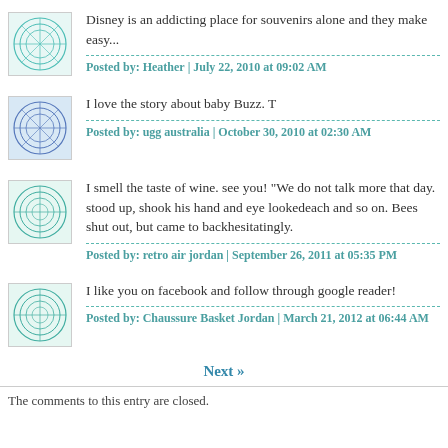Disney is an addicting place for souvenirs alone and they make easy...
Posted by: Heather | July 22, 2010 at 09:02 AM
I love the story about baby Buzz. T
Posted by: ugg australia | October 30, 2010 at 02:30 AM
I smell the taste of wine. see you! "We do not talk more that day. stood up, shook his hand and eye lookedeach and so on. Bees shut out, but came to backhesitatingly.
Posted by: retro air jordan | September 26, 2011 at 05:35 PM
I like you on facebook and follow through google reader!
Posted by: Chaussure Basket Jordan | March 21, 2012 at 06:44 AM
Next »
The comments to this entry are closed.